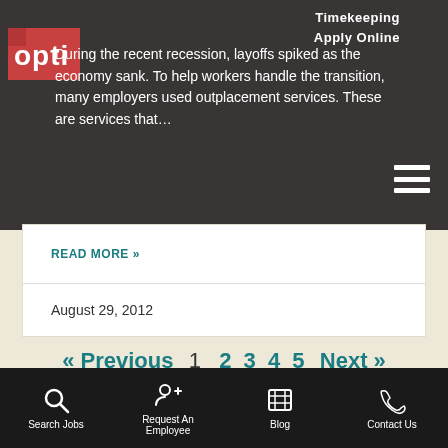[Figure (logo): Opti staffing logo with red square and white text]
Timekeeping
Apply Online
During the recent recession, layoffs spiked as the economy sank. To help workers handle the transition, many employers used outplacement services. These are services that...
READ MORE »
August 29, 2012
« Previous  1  2  3  4  5  Next »
Search Jobs   Request An Employee   Blog   Contact Us